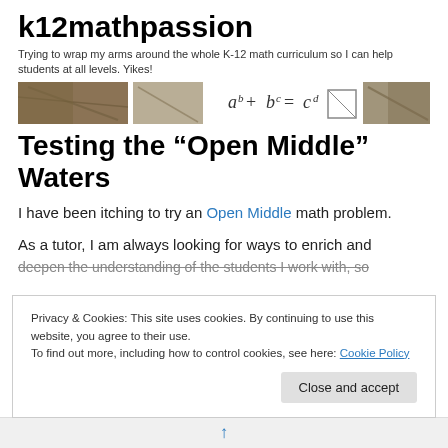k12mathpassion
Trying to wrap my arms around the whole K-12 math curriculum so I can help students at all levels. Yikes!
[Figure (illustration): Blog banner image with photographs and math equation a^b + b^c = c^d displayed in center]
Testing the “Open Middle” Waters
I have been itching to try an Open Middle math problem.
As a tutor, I am always looking for ways to enrich and deepen the understanding of the students I work with, so
Privacy & Cookies: This site uses cookies. By continuing to use this website, you agree to their use.
To find out more, including how to control cookies, see here: Cookie Policy